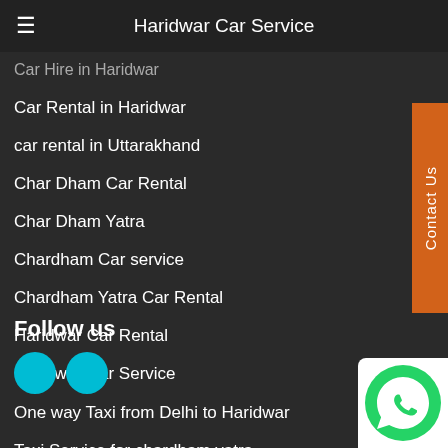Haridwar Car Service
Car Hire in Haridwar
Car Rental in Haridwar
car rental in Uttarakhand
Char Dham Car Rental
Char Dham Yatra
Chardham Car service
Chardham Yatra Car Rental
Haridwar Car Rental
Haridwar Car Service
One way Taxi from Delhi to Haridwar
Taxi Service for chardham yatra
Uttarakhand Car Rental
Uttarakhand Tour Packages
Follow us
[Figure (other): WhatsApp widget icon in bottom right corner]